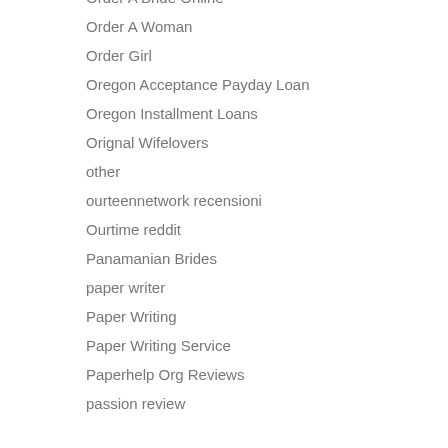Order A Bride Online
Order A Woman
Order Girl
Oregon Acceptance Payday Loan
Oregon Installment Loans
Orignal Wifelovers
other
ourteennetwork recensioni
Ourtime reddit
Panamanian Brides
paper writer
Paper Writing
Paper Writing Service
Paperhelp Org Reviews
passion review